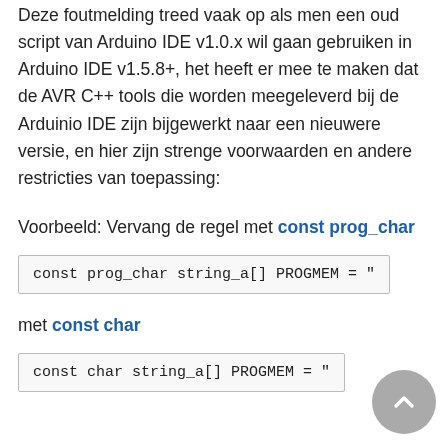Deze foutmelding treed vaak op als men een oud script van Arduino IDE v1.0.x wil gaan gebruiken in Arduino IDE v1.5.8+, het heeft er mee te maken dat de AVR C++ tools die worden meegeleverd bij de Arduinio IDE zijn bijgewerkt naar een nieuwere versie, en hier zijn strenge voorwaarden en andere restricties van toepassing:
Voorbeeld: Vervang de regel met const prog_char
const prog_char string_a[] PROGMEM = "
met const char
const char string_a[] PROGMEM = "